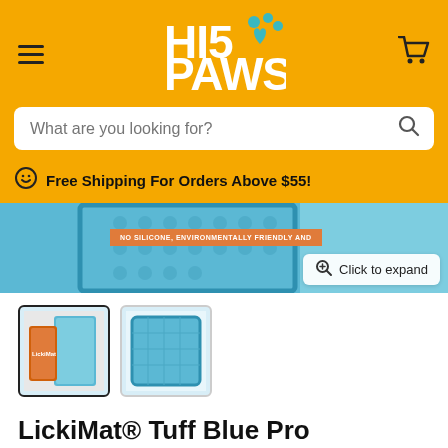[Figure (logo): Hi5 Paws pet store logo with paw print and heart on yellow background]
What are you looking for?
Free Shipping For Orders Above $55!
[Figure (photo): LickiMat Tuff Blue Pro Soother product main image showing blue textured mat with orange badge text: NO SILICONE, ENVIRONMENTALLY FRIENDLY AND...]
[Figure (photo): Product thumbnail 1: LickiMat in packaging]
[Figure (photo): Product thumbnail 2: Blue LickiMat Tuff flat view]
LickiMat® Tuff Blue Pro Soother™
$17.50